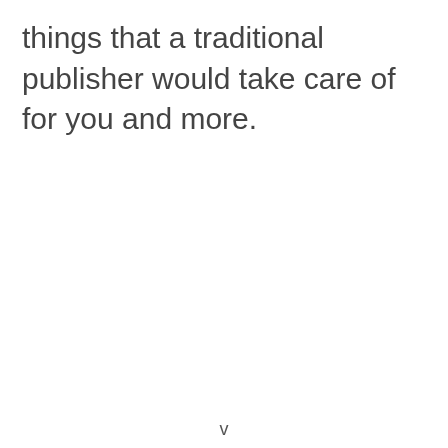things that a traditional publisher would take care of for you and more.
v